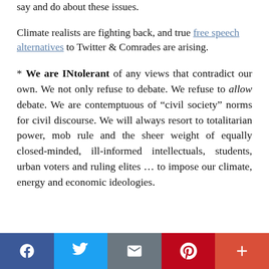say and do about these issues.
Climate realists are fighting back, and true free speech alternatives to Twitter & Comrades are arising.
* We are INtolerant of any views that contradict our own. We not only refuse to debate. We refuse to allow debate. We are contemptuous of “civil society” norms for civil discourse. We will always resort to totalitarian power, mob rule and the sheer weight of equally closed-minded, ill-informed intellectuals, students, urban voters and ruling elites … to impose our climate, energy and economic ideologies.
Social sharing bar: Facebook, Twitter, Email, Pinterest, Plus